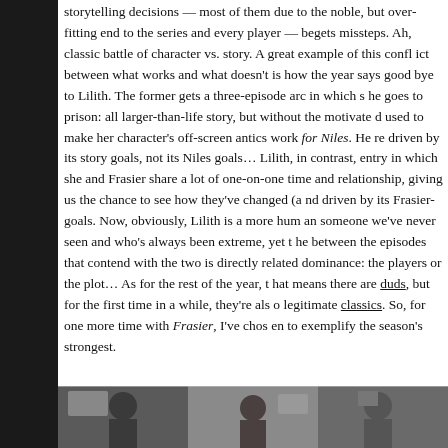storytelling decisions — most of them due to the noble, but over-fitting end to the series and every player — begets missteps. Ah, classic battle of character vs. story. A great example of this conflict between what works and what doesn't is how the year says goodbye to Lilith. The former gets a three-episode arc in which she goes to prison: all larger-than-life story, but without the motivation used to make her character's off-screen antics work for Niles. Here driven by its story goals, not its Niles goals… Lilith, in contrast, entry in which she and Frasier share a lot of one-on-one time and relationship, giving us the chance to see how they've changed (and driven by its Frasier-goals. Now, obviously, Lilith is a more human someone we've never seen and who's always been extreme, yet the between the episodes that contend with the two is directly related to dominance: the players or the plot… As for the rest of the year, that means there are duds, but for the first time in a while, they're also legitimate classics. So, for one more time with Frasier, I've chosen to exemplify the season's strongest.
[Figure (photo): A photograph showing people, partially visible at the bottom of the page, cut off.]